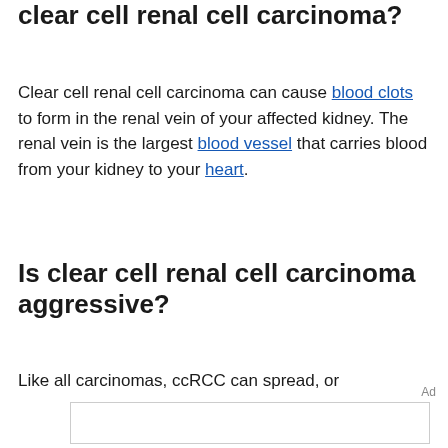What are the complications of clear cell renal cell carcinoma?
Clear cell renal cell carcinoma can cause blood clots to form in the renal vein of your affected kidney. The renal vein is the largest blood vessel that carries blood from your kidney to your heart.
Is clear cell renal cell carcinoma aggressive?
Like all carcinomas, ccRCC can spread, or